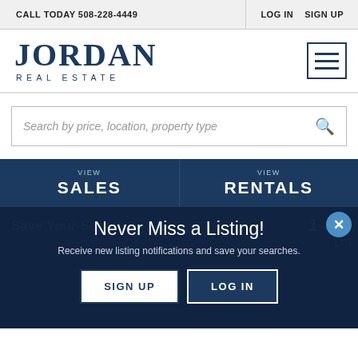CALL TODAY 508-228-4449 | LOG IN  SIGN UP
[Figure (logo): Jordan Real Estate logo with hamburger menu icon]
Search by price, location, property type
VIEW SALES
VIEW RENTALS
Never Miss a Listing!
Receive new listing notifications and save your searches.
SIGN UP  LOG IN